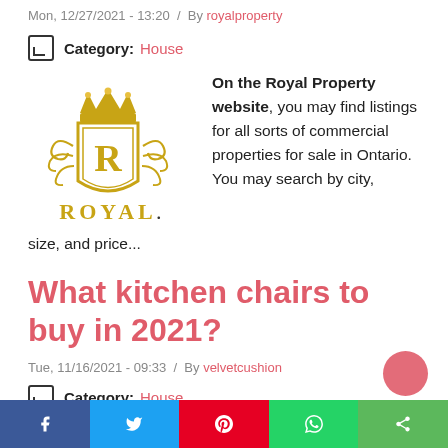Mon, 12/27/2021 - 13:20  /  By royalproperty
Category: House
[Figure (logo): Royal Property gold ornate crest logo with crown and R monogram, text ROYAL below]
On the Royal Property website, you may find listings for all sorts of commercial properties for sale in Ontario. You may search by city, size, and price...
What kitchen chairs to buy in 2021?
Tue, 11/16/2021 - 09:33  /  By velvetcushion
Category: House